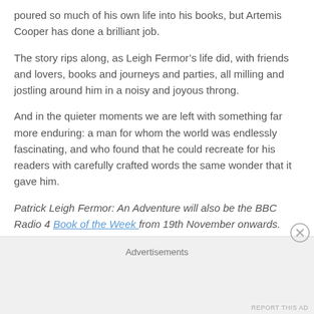poured so much of his own life into his books, but Artemis Cooper has done a brilliant job.
The story rips along, as Leigh Fermor’s life did, with friends and lovers, books and journeys and parties, all milling and jostling around him in a noisy and joyous throng.
And in the quieter moments we are left with something far more enduring: a man for whom the world was endlessly fascinating, and who found that he could recreate for his readers with carefully crafted words the same wonder that it gave him.
Patrick Leigh Fermor: An Adventure will also be the BBC Radio 4 Book of the Week from 19th November onwards.
Advertisements